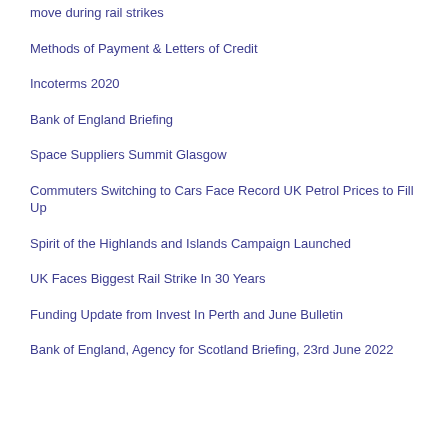move during rail strikes
Methods of Payment & Letters of Credit
Incoterms 2020
Bank of England Briefing
Space Suppliers Summit Glasgow
Commuters Switching to Cars Face Record UK Petrol Prices to Fill Up
Spirit of the Highlands and Islands Campaign Launched
UK Faces Biggest Rail Strike In 30 Years
Funding Update from Invest In Perth and June Bulletin
Bank of England, Agency for Scotland Briefing, 23rd June 2022